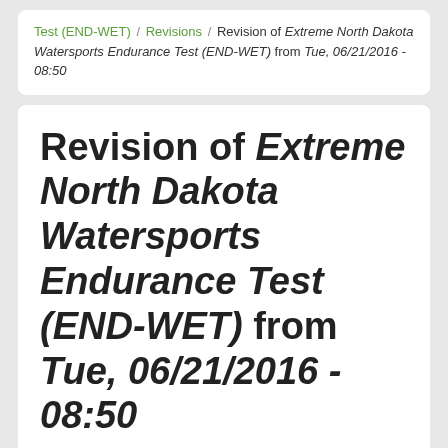Test (END-WET) / Revisions / Revision of Extreme North Dakota Watersports Endurance Test (END-WET) from Tue, 06/21/2016 - 08:50
Revision of Extreme North Dakota Watersports Endurance Test (END-WET) from Tue, 06/21/2016 - 08:50
June 18, 2016